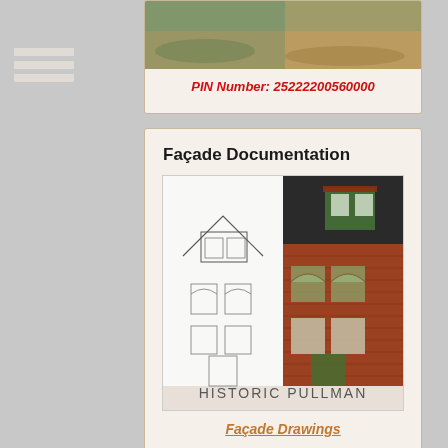PIN Number: 25222200560000
Façade Documentation
[Figure (illustration): Split image showing architectural line drawing on left half and photo of historic brick rowhouse on right half, with 'HISTORIC PULLMAN' watermark text at bottom]
Façade Drawings
Expand Your Search
Chicago Collections is a